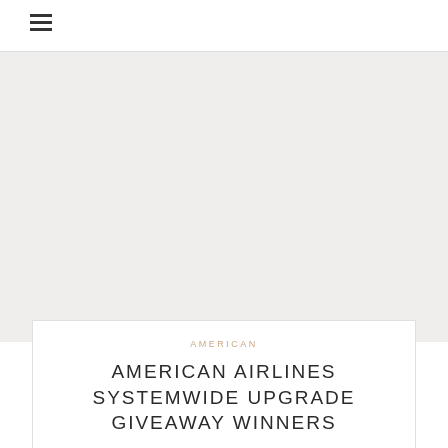☰
[Figure (photo): Large image area placeholder, light beige/gray background]
AMERICAN
AMERICAN AIRLINES SYSTEMWIDE UPGRADE GIVEAWAY WINNERS